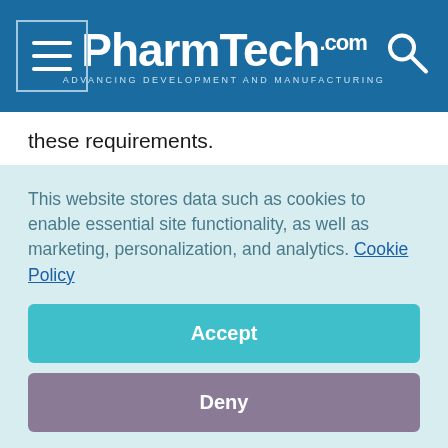PharmTech.com — Advancing Development and Manufacturing
these requirements.
Behind every therapy is a team of researchers and scientists that develop the tools needed to create better therapies, to get them to market faster, and make them cost-effective.
At CPhI Worldwide in Barcelona in October 2016, the CPhI Pharma Awards recognized the companies that provide these important tools, materials, and services, often in an unsung
This website stores data such as cookies to enable essential site functionality, as well as marketing, personalization, and analytics. Cookie Policy
Accept
Deny